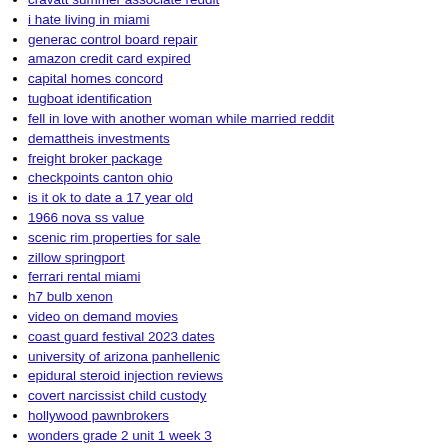cravatt summer associate reddit
i hate living in miami
generac control board repair
amazon credit card expired
capital homes concord
tugboat identification
fell in love with another woman while married reddit
demattheis investments
freight broker package
checkpoints canton ohio
is it ok to date a 17 year old
1966 nova ss value
scenic rim properties for sale
zillow springport
ferrari rental miami
h7 bulb xenon
video on demand movies
coast guard festival 2023 dates
university of arizona panhellenic
epidural steroid injection reviews
covert narcissist child custody
hollywood pawnbrokers
wonders grade 2 unit 1 week 3
obsidian shortcuts
army 2 year enlistment 2022